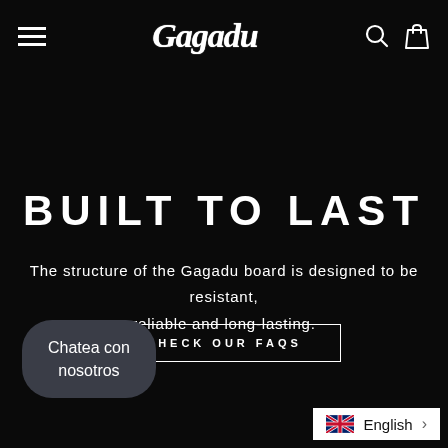Gagadu navigation bar with hamburger menu, logo, search and cart icons
BUILT TO LAST
The structure of the Gagadu board is designed to be resistant, reliable and long-lasting.
CHECK OUR FAQS
Chatea con nosotros
English